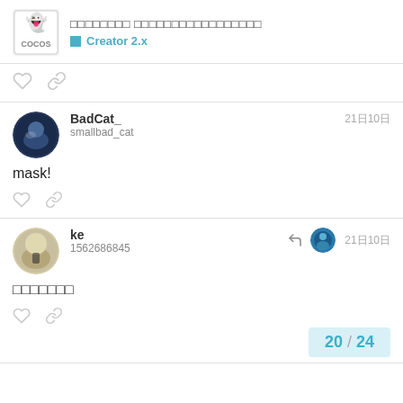Cocos Creator forum — Creator 2.x
mask!
BadCat_ / smallbad_cat — 21日10日
ke / 1562686845 — 21日10日
□□□□□□□
20 / 24